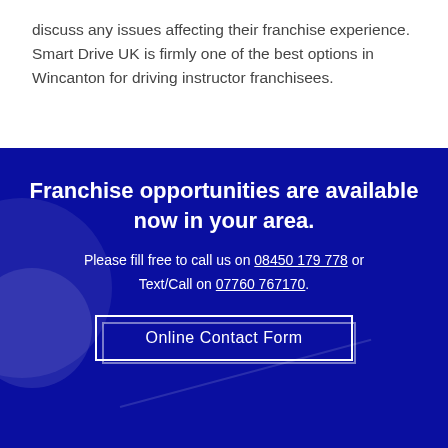discuss any issues affecting their franchise experience. Smart Drive UK is firmly one of the best options in Wincanton for driving instructor franchisees.
Franchise opportunities are available now in your area.
Please fill free to call us on 08450 179 778 or Text/Call on 07760 767170.
Online Contact Form